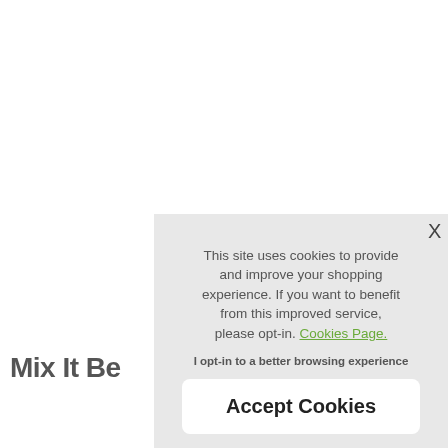Mix It Be
£39.81 per m²
This site uses cookies to provide and improve your shopping experience. If you want to benefit from this improved service, please opt-in. Cookies Page.
I opt-in to a better browsing experience
Accept Cookies